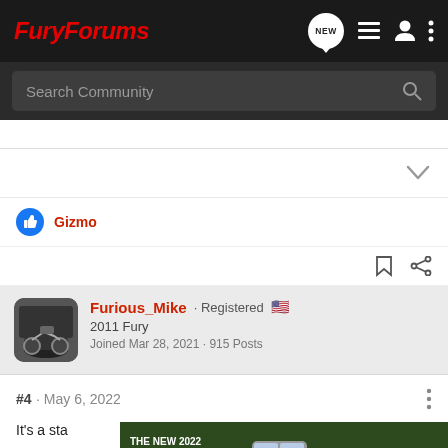FuryForums
Search Community
Gizmo
Furious_Mike · Registered 🇺🇸
2011 Fury
Joined Mar 28, 2021 · 915 Posts
#4 · May 6, 2022
It's a sta...
[Figure (screenshot): Advertisement for The New 2022 Silverado by Chevrolet with Explore button overlaid on post content]